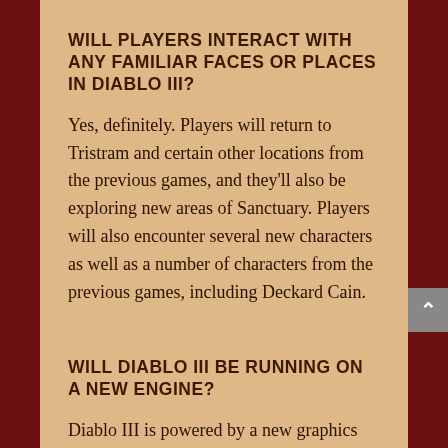WILL PLAYERS INTERACT WITH ANY FAMILIAR FACES OR PLACES IN DIABLO III?
Yes, definitely. Players will return to Tristram and certain other locations from the previous games, and they'll also be exploring new areas of Sanctuary. Players will also encounter several new characters as well as a number of characters from the previous games, including Deckard Cain.
WILL DIABLO III BE RUNNING ON A NEW ENGINE?
Diablo III is powered by a new graphics engine